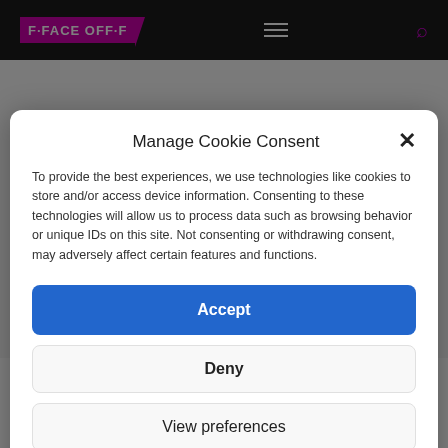[Figure (screenshot): Navigation bar with FaceOff logo in magenta/purple, hamburger menu icon, and magenta search icon on dark background]
Manage Cookie Consent
To provide the best experiences, we use technologies like cookies to store and/or access device information. Consenting to these technologies will allow us to process data such as browsing behavior or unique IDs on this site. Not consenting or withdrawing consent, may adversely affect certain features and functions.
Accept
Deny
View preferences
Privacy Statement
Having studied scriptwriting in London, I